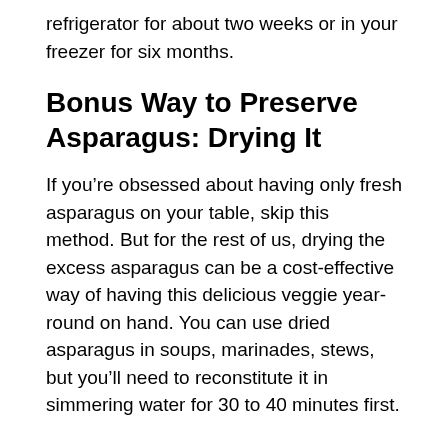refrigerator for about two weeks or in your freezer for six months.
Bonus Way to Preserve Asparagus: Drying It
If you’re obsessed about having only fresh asparagus on your table, skip this method. But for the rest of us, drying the excess asparagus can be a cost-effective way of having this delicious veggie year-round on hand. You can use dried asparagus in soups, marinades, stews, but you’ll need to reconstitute it in simmering water for 30 to 40 minutes first.